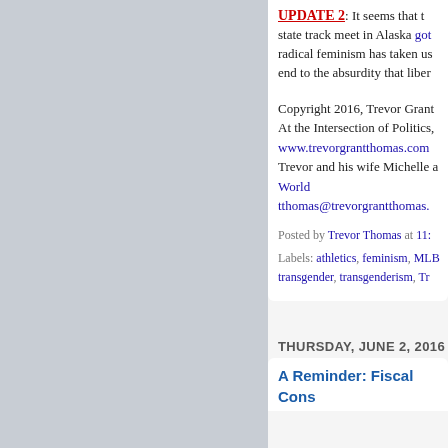UPDATE 2: It seems that the state track meet in Alaska got... radical feminism has taken us... end to the absurdity that liber...
Copyright 2016, Trevor Grant... At the Intersection of Politics, www.trevorgrantthomas.com Trevor and his wife Michelle a... World tthomas@trevorgrantthomas.
Posted by Trevor Thomas at 11:...
Labels: athletics, feminism, MLB... transgender, transgenderism, Tr...
THURSDAY, JUNE 2, 2016
A Reminder: Fiscal Cons...